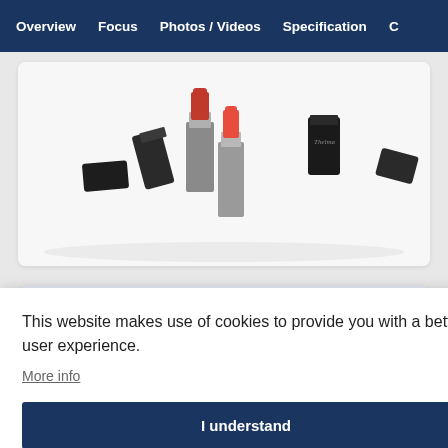Overview   Focus   Photos / Videos   Specification   C
[Figure (photo): Multiple lipstick cosmetic products arranged on white background, showing red lipstick tubes and black caps with 'Thelma' branding]
[Figure (photo): Partial view of cosmetic products on lavender/purple background]
This website makes use of cookies to provide you with a better user experience.
More info
I understand